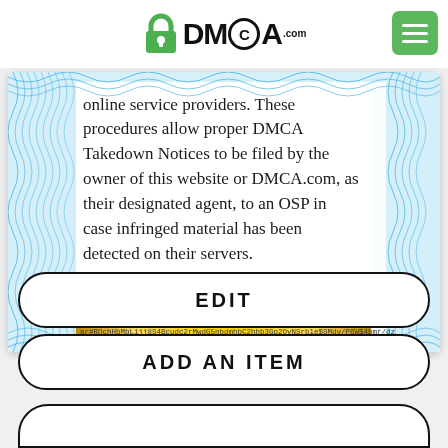[Figure (logo): DMCA.com logo with green padlock icon and menu button]
[Figure (illustration): DMCA certificate card with guilloche border pattern, showing text about DMCA Takedown Notices and procedures for OSPs, with a hash/verification bar at bottom]
online service providers. These procedures allow proper DMCA Takedown Notices to be filed by the owner of this website or DMCA.com, as their designated agent, to an OSP in case infringed material has been detected on their servers.
EDIT
ADD AN ITEM